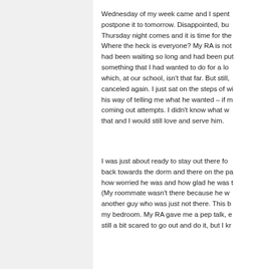Wednesday of my week came and I spent ... postpone it to tomorrow. Disappointed, bu... Thursday night comes and it is time for the... Where the heck is everyone? My RA is not... had been waiting so long and had been put... something that I had wanted to do for a lo... which, at our school, isn't that far. But still,... canceled again. I just sat on the steps of wh... his way of telling me what he wanted – if m... coming out attempts. I didn't know what w... that and I would still love and serve him.
I was just about ready to stay out there fo... back towards the dorm and there on the pa... how worried he was and how glad he was t... (My roommate wasn't there because he w... another guy who was just not there. This b... my bedroom. My RA gave me a pep talk, e... still a bit scared to go out and do it, but I kr...